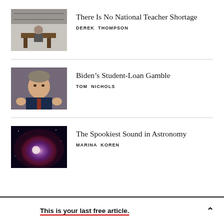[Figure (photo): A person sitting at a desk in a classroom setting]
There Is No National Teacher Shortage
DEREK THOMPSON
[Figure (photo): Joe Biden speaking with hands raised]
Biden’s Student-Loan Gamble
TOM NICHOLS
[Figure (photo): A glowing nebula or galaxy in space with purple and pink hues]
The Spookiest Sound in Astronomy
MARINA KOREN
This is your last free article.